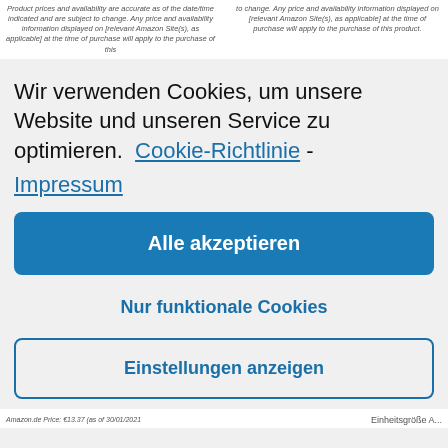Product prices and availability are accurate as of the date/time indicated and are subject to change. Any price and availability information displayed on [relevant Amazon Site(s), as applicable] at the time of purchase will apply to the purchase of this
to change. Any price and availability information displayed on [relevant Amazon Site(s), as applicable] at the time of purchase will apply to the purchase of this product.
Wir verwenden Cookies, um unsere Website und unseren Service zu optimieren.  Cookie-Richtlinie - Impressum
Alle akzeptieren
Nur funktionale Cookies
Einstellungen anzeigen
Amazon.de Price: €13.37 (as of 30/01/2021
Einheitsgröße A...